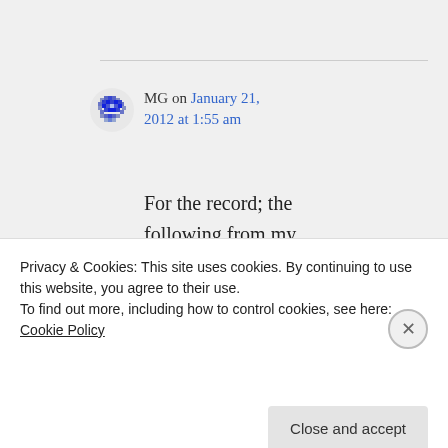[Figure (illustration): Avatar icon – blue pixelated/mosaic circular avatar graphic]
MG on January 21, 2012 at 1:55 am
For the record; the following from my posts have mistaken word use:
It's cheap and high
Privacy & Cookies: This site uses cookies. By continuing to use this website, you agree to their use.
To find out more, including how to control cookies, see here: Cookie Policy
Close and accept